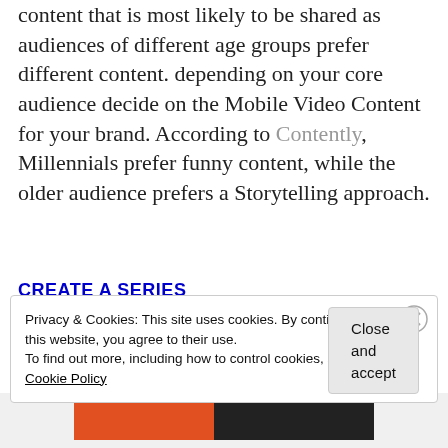content that is most likely to be shared as audiences of different age groups prefer different content. depending on your core audience decide on the Mobile Video Content for your brand. According to Contently, Millennials prefer funny content, while the older audience prefers a Storytelling approach.
CREATE A SERIES
Privacy & Cookies: This site uses cookies. By continuing to use this website, you agree to their use.
To find out more, including how to control cookies, see here:
Cookie Policy
Close and accept